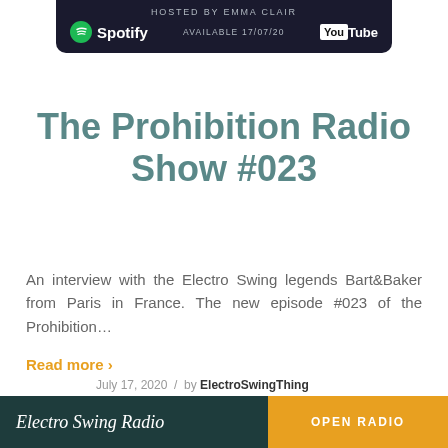[Figure (other): Top banner: dark background with Spotify logo on left, 'HOSTED BY EMMA CLAIR / AVAILABLE 17/07/20' in center, YouTube logo on right]
The Prohibition Radio Show #023
An interview with the Electro Swing legends Bart&Baker from Paris in France. The new episode #023 of the Prohibition...
Read more ›
July 17, 2020 / by ElectroSwingThing
[Figure (photo): Partial black and white photo visible at bottom of page]
Electro Swing Radio   OPEN RADIO